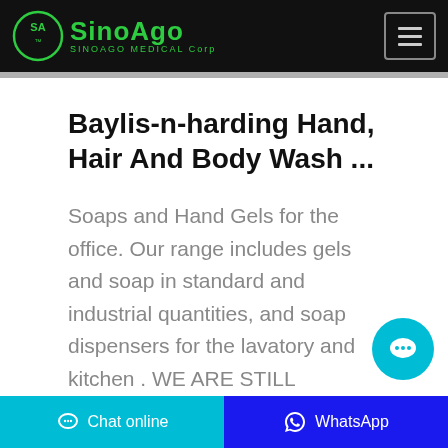SinoAgo MEDICAL Corp
Baylis-n-harding Hand, Hair And Body Wash ...
Soaps and Hand Gels for the office. Our range includes gels and soap in standard and industrial quantities, and soap dispensers for the lavatory and kitchen . WE ARE STILL RUNNING BUSINESS AS USUAL AND DELIVERING AS NORMAL - 20/09/2021 Corona Virus Updates -
Chat online | WhatsApp